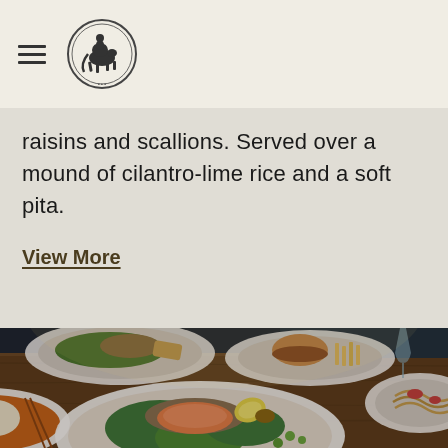[hamburger menu icon] [restaurant logo]
raisins and scallions. Served over a mound of cilantro-lime rice and a soft pita.
View More
[Figure (photo): Restaurant table with multiple white plates of food including salmon with greens and grains, a bowl with orange sauce and rice, a burger with fries, and pasta dishes, photographed from above in dim restaurant lighting.]